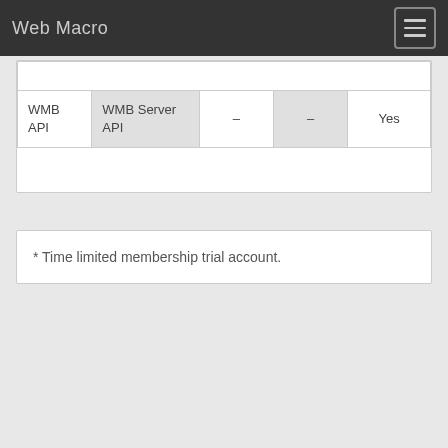Web Macro
| WMB API | WMB Server API | – | – | Yes |
* Time limited membership trial account.